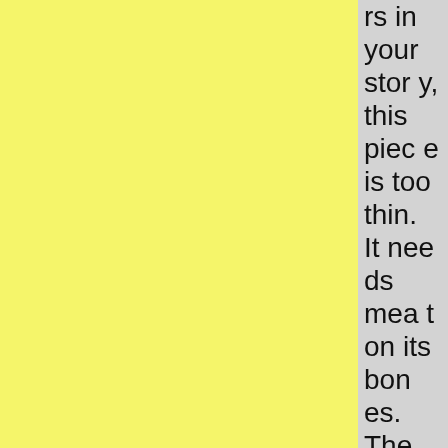rs in your story, this piece is too thin. It needs meat on its bones. The reveal is nice. But mor